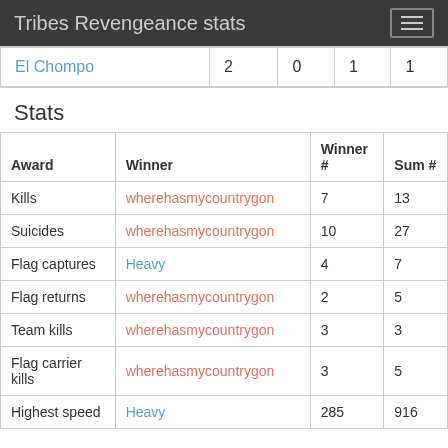Tribes Revengeance stats
|  |  |  |  |  |
| --- | --- | --- | --- | --- |
| El Chompo | 2 | 0 | 1 | 1 |
Stats
| Award | Winner | Winner # | Sum # |
| --- | --- | --- | --- |
| Kills | wherehasmycountrygon | 7 | 13 |
| Suicides | wherehasmycountrygon | 10 | 27 |
| Flag captures | Heavy | 4 | 7 |
| Flag returns | wherehasmycountrygon | 2 | 5 |
| Team kills | wherehasmycountrygon | 3 | 3 |
| Flag carrier kills | wherehasmycountrygon | 3 | 5 |
| Highest speed | Heavy | 285 | 916 |